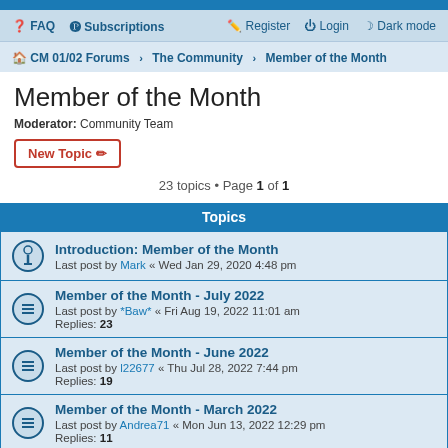FAQ  Subscriptions    Register  Login  Dark mode
CM 01/02 Forums › The Community › Member of the Month
Member of the Month
Moderator: Community Team
New Topic
23 topics • Page 1 of 1
Topics
Introduction: Member of the Month
Last post by Mark « Wed Jan 29, 2020 4:48 pm
Member of the Month - July 2022
Last post by *Baw* « Fri Aug 19, 2022 11:01 am
Replies: 23
Member of the Month - June 2022
Last post by l22677 « Thu Jul 28, 2022 7:44 pm
Replies: 19
Member of the Month - March 2022
Last post by Andrea71 « Mon Jun 13, 2022 12:29 pm
Replies: 11
Member of the Month - May 2022
Last post by ebfatz « Mon Jun 13, 2022 11:55 am